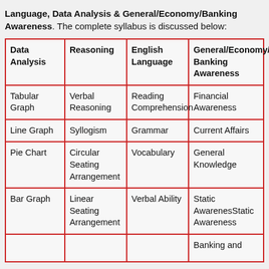Language, Data Analysis & General/Economy/Banking Awareness. The complete syllabus is discussed below:
| Data Analysis | Reasoning | English Language | General/Economy/Banking Awareness |
| --- | --- | --- | --- |
| Tabular Graph | Verbal Reasoning | Reading Comprehension | Financial Awareness |
| Line Graph | Syllogism | Grammar | Current Affairs |
| Pie Chart | Circular Seating Arrangement | Vocabulary | General Knowledge |
| Bar Graph | Linear Seating Arrangement | Verbal Ability | Static Awareness |
|  |  |  | Banking and |